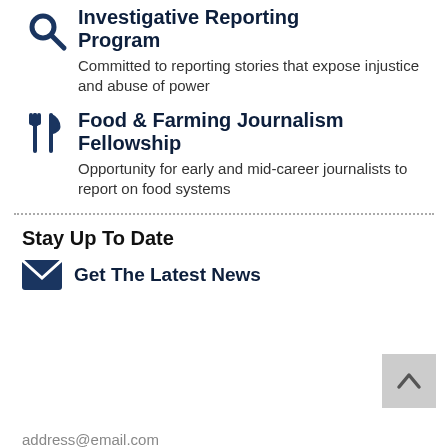Investigative Reporting Program – Committed to reporting stories that expose injustice and abuse of power
Food & Farming Journalism Fellowship – Opportunity for early and mid-career journalists to report on food systems
Stay Up To Date
Get The Latest News
address@email.com